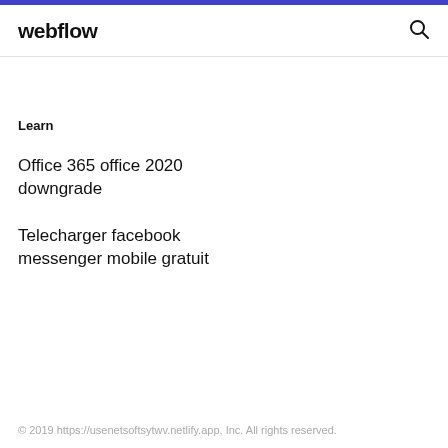webflow
Learn
Office 365 office 2020 downgrade
Telecharger facebook messenger mobile gratuit
© 2019 https://usenetsoftsytwv.netlify.app, Inc. All rights reserved.